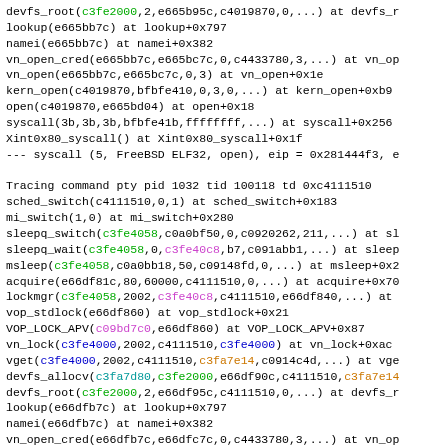Stack trace / kernel debug output showing function calls with colored memory addresses for a FreeBSD kernel tracing session of command pty pid 1032 tid 100118.